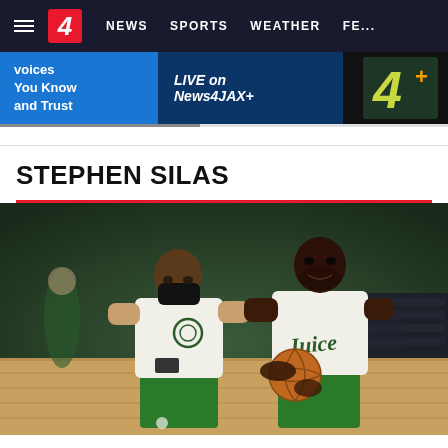≡  4  NEWS  SPORTS  WEATHER  FE...
[Figure (screenshot): News4Jax promotional ad banner: 'Voices You Know and Trust / LIVE on News4JAX+ / 4+' logo]
STEPHEN SILAS
[Figure (photo): Two men in white Boston Celtics warm-up shirts on a basketball court. The man on the left wears a black face mask and holds a phone. The man on the right holds a basketball and wears a shirt that reads 'Juice'. Both wear green shorts. Other players visible in the blurred background.]